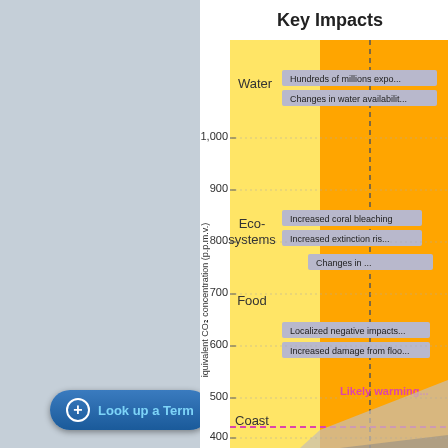Key Impacts
[Figure (infographic): Climate change key impacts diagram showing categories (Water, Ecosystems, Food, Coast, Health) with colored bars indicating impact severity against CO2 concentration levels (400-1000 ppm). Yellow and orange bands show increasing impacts. A pink/magenta line shows likely warming range. Labels include: Hundreds of millions exposed, Changes in water availability, Increased coral bleaching, Increased extinction risk, Changes in [food], Localized negative impacts, Increased damage from floods, Increased burden from [disease], Increased mortality from extreme heat.]
Look up a Term